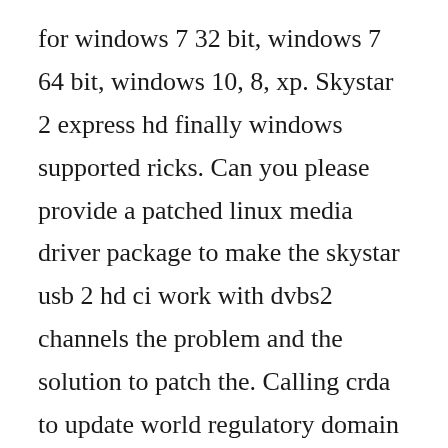for windows 7 32 bit, windows 7 64 bit, windows 10, 8, xp. Skystar 2 express hd finally windows supported ricks. Can you please provide a patched linux media driver package to make the skystar usb 2 hd ci work with dvbs2 channels the problem and the solution to patch the. Calling crda to update world regulatory domain switching to clocksource wktmr net. Its good to know that, this skystar usb 2 hd ci work on my sony vaio laptop 15116egb, in windows 10 very fine. Download skystar usb 2 hd ci driver for free working problems. To make that 2 machine